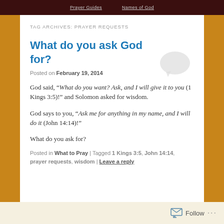Prayer Guides   Names of God
TAG ARCHIVES: PRAYER REQUESTS
What do you ask God for?
Posted on February 19, 2014
God said, “What do you want? Ask, and I will give it to you (1 Kings 3:5)!” and Solomon asked for wisdom.
God says to you, “Ask me for anything in my name, and I will do it (John 14:14)!”
What do you ask for?
Posted in What to Pray | Tagged 1 Kings 3:5, John 14:14, prayer requests, wisdom | Leave a reply
Follow